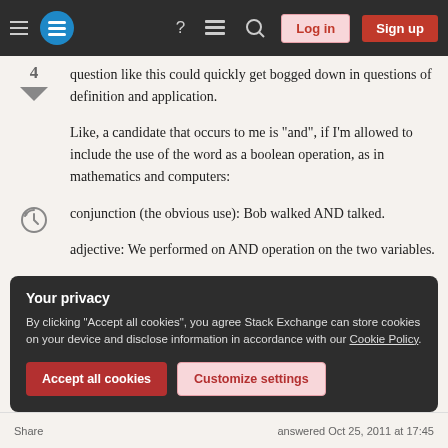Stack Exchange navigation bar with hamburger menu, logo, help, chat, search icons, Log in and Sign up buttons
question like this could quickly get bogged down in questions of definition and application.
Like, a candidate that occurs to me is "and", if I'm allowed to include the use of the word as a boolean operation, as in mathematics and computers:
conjunction (the obvious use): Bob walked AND talked.
adjective: We performed on AND operation on the two variables.
Your privacy
By clicking "Accept all cookies", you agree Stack Exchange can store cookies on your device and disclose information in accordance with our Cookie Policy.
Accept all cookies  Customize settings